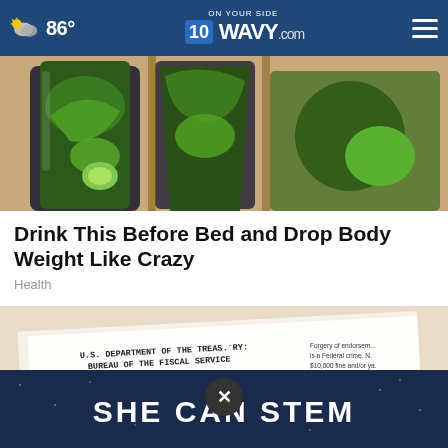86° WAVY.com ON YOUR SIDE
[Figure (photo): Green vegetable smoothie drinks in glasses with cucumber and leafy greens on a counter]
Drink This Before Bed and Drop Body Weight Like Crazy
Health
[Figure (photo): U.S. Department of the Treasury, Bureau of the Fiscal Service check envelope. P.O. Box 51315, Philadelphia, Pennsylvania 19115-6315. Numbers: 04 24 20 2409880, KANSAS CITY, 08464928692, 041, 438494 I. IF RECIPIENT checkbox shown. SHE CAN STEM banner overlay.]